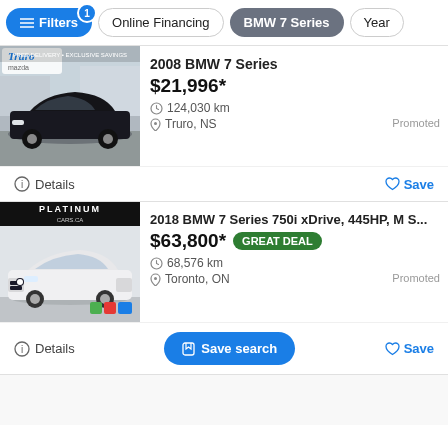Filters | Online Financing | BMW 7 Series | Year
[Figure (photo): 2008 BMW 7 Series black car at Truro Mazda dealership]
2008 BMW 7 Series
$21,996*
124,030 km
Truro, NS
Promoted
Details | Save
[Figure (photo): 2018 BMW 7 Series white car at Platinum Cars dealership]
2018 BMW 7 Series 750i xDrive, 445HP, M S...
$63,800* GREAT DEAL
68,576 km
Toronto, ON
Promoted
Details | Save search | Save